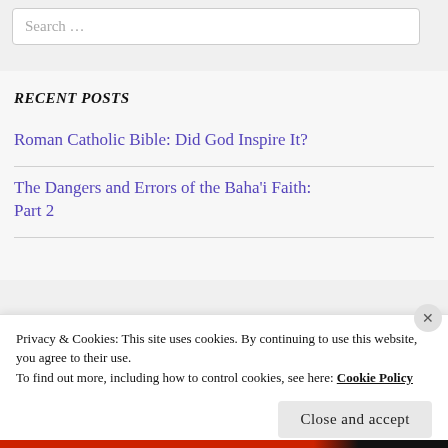Search …
RECENT POSTS
Roman Catholic Bible: Did God Inspire It?
The Dangers and Errors of the Baha'i Faith: Part 2
Privacy & Cookies: This site uses cookies. By continuing to use this website, you agree to their use.
To find out more, including how to control cookies, see here: Cookie Policy
Close and accept